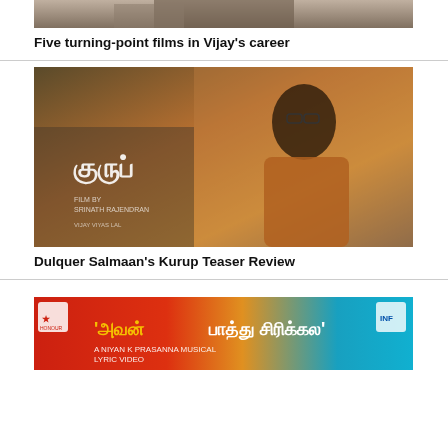[Figure (photo): Top portion of a film still for a Vijay movie article, partially cropped]
Five turning-point films in Vijay's career
[Figure (photo): Movie poster for Dulquer Salmaan's Kurup showing a man in brown blazer and floral shirt with Malayalam text]
Dulquer Salmaan's Kurup Teaser Review
[Figure (photo): Tamil lyric video thumbnail with text 'Avan Paathu Sirikkal' in Tamil script on colorful background]